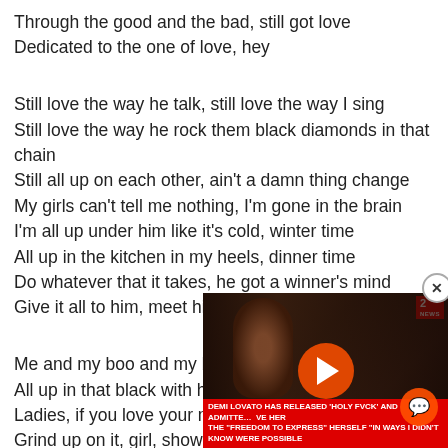Through the good and the bad, still got love
Dedicated to the one of love, hey

Still love the way he talk, still love the way I sing
Still love the way he rock them black diamonds in that chain
Still all up on each other, ain't a damn thing change
My girls can't tell me nothing, I'm gone in the brain
I'm all up under him like it's cold, winter time
All up in the kitchen in my heels, dinner time
Do whatever that it takes, he got a winner's mind
Give it all to him, meet him at the finish line

Me and my boo and my boo boo riding
All up in that black with his c
Ladies, if you love your man s
Grind up on it, girl, show him
Me and my boo and my boo b
All up in that black with his c
[Figure (screenshot): Video player overlay showing a news broadcast with a woman in the frame. Red news ticker at bottom reads: DEMI LOVATO HAS RELEASED 'HOLY FVCK' AND ADMITTED... VE HER THE 'FREEDOM TO EXPRESS' HERSELF 'IN WAYS I DIDN'T KNOW WERE POSSIBLE'. Orange play button in center, chat icon bottom right, close button top right. Channel 2 badge top right corner.]